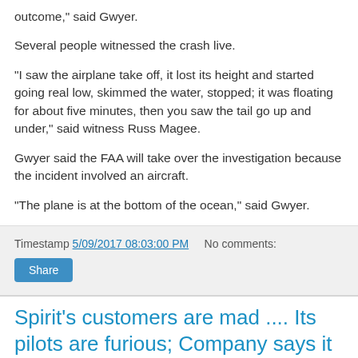outcome,” said Gwyer.
Several people witnessed the crash live.
“I saw the airplane take off, it lost its height and started going real low, skimmed the water, stopped; it was floating for about five minutes, then you saw the tail go up and under,” said witness Russ Magee.
Gwyer said the FAA will take over the investigation because the incident involved an aircraft.
“The plane is at the bottom of the ocean,” said Gwyer.
Timestamp 5/09/2017 08:03:00 PM   No comments:
Spirit’s customers are mad .... Its pilots are furious; Company says it can’t